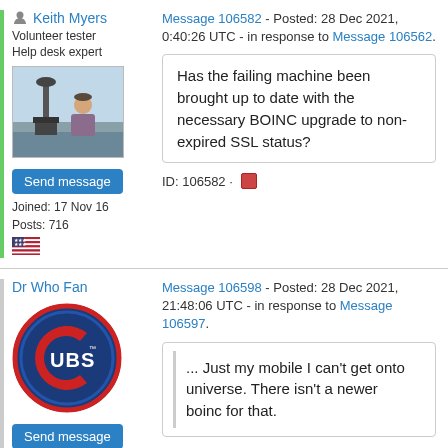Keith Myers - Volunteer tester, Help desk expert
[Figure (photo): User avatar photo of Keith Myers with telescope equipment outdoors]
Send message
Joined: 17 Nov 16
Posts: 716
Message 106582 - Posted: 28 Dec 2021, 0:40:26 UTC - in response to Message 106562.
Has the failing machine been brought up to date with the necessary BOINC upgrade to non-expired SSL status?
ID: 106582
Dr Who Fan
[Figure (logo): Cubs baseball team logo avatar - blue circle with red C and UBS letters]
Send message
Joined: 10 May 07
Message 106598 - Posted: 28 Dec 2021, 21:48:06 UTC - in response to Message 106597.
... Just my mobile I can't get onto universe. There isn't a newer boinc for that.